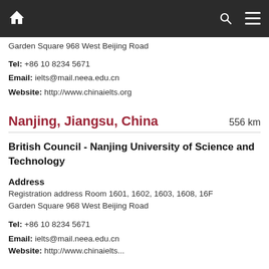Navigation bar with home, search, and menu icons
Garden Square 968 West Beijing Road
Tel: +86 10 8234 5671
Email: ielts@mail.neea.edu.cn
Website: http://www.chinaielts.org
Nanjing, Jiangsu, China  556 km
British Council - Nanjing University of Science and Technology
Address
Registration address Room 1601, 1602, 1603, 1608, 16F Garden Square 968 West Beijing Road
Tel: +86 10 8234 5671
Email: ielts@mail.neea.edu.cn
Website: http://www.chinaielts...